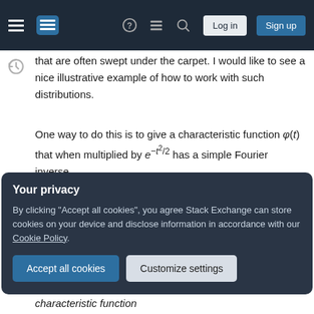Stack Exchange navigation bar with hamburger menu, logo, help, chat, search, Log in, Sign up buttons
that are often swept under the carpet. I would like to see a nice illustrative example of how to work with such distributions.
One way to do this is to give a characteristic function φ(t) that when multiplied by e^{-t²/2} has a simple Fourier inverse.
However, I don't have a good choice of the characteristic function φ(t) that would lead to a meaningful result.
For example, for the Cantor distribution, the
Your privacy
By clicking "Accept all cookies", you agree Stack Exchange can store cookies on your device and disclose information in accordance with our Cookie Policy.
Accept all cookies   Customize settings
characteristic function